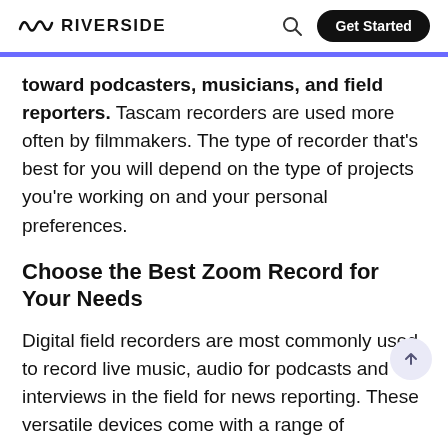RIVERSIDE | Get Started
toward podcasters, musicians, and field reporters. Tascam recorders are used more often by filmmakers. The type of recorder that's best for you will depend on the type of projects you're working on and your personal preferences.
Choose the Best Zoom Record for Your Needs
Digital field recorders are most commonly used to record live music, audio for podcasts and interviews in the field for news reporting. These versatile devices come with a range of